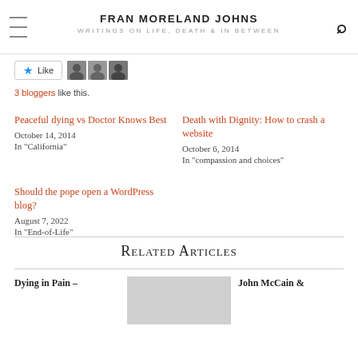FRAN MORELAND JOHNS | WRITINGS ON LIFE, DEATH & IN BETWEEN
3 bloggers like this.
Peaceful dying vs Doctor Knows Best
October 14, 2014
In "California"
Death with Dignity: How to crash a website
October 6, 2014
In "compassion and choices"
Should the pope open a WordPress blog?
August 7, 2022
In "End-of-Life"
Related Articles
Dying in Pain –
John McCain &